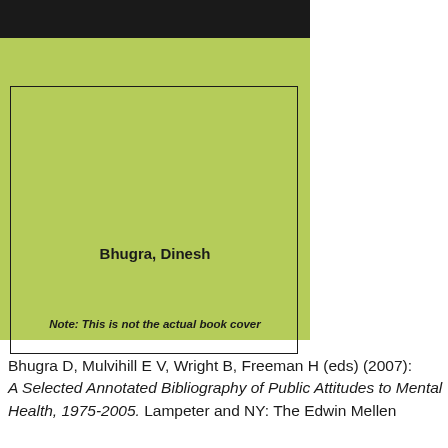[Figure (illustration): Book cover placeholder with black header bar and green/yellow-green background, showing author name 'Bhugra, Dinesh' in bold, with inner black border rectangle, and note at bottom reading 'Note: This is not the actual book cover']
Bhugra D, Mulvihill E V, Wright B, Freeman H (eds) (2007): A Selected Annotated Bibliography of Public Attitudes to Mental Health, 1975-2005. Lampeter and NY: The Edwin Mellen